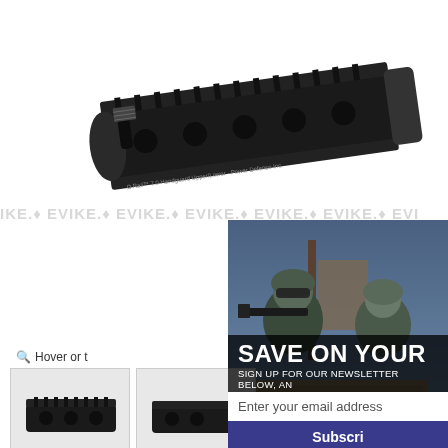[Figure (photo): Black tactical rail handguard / RAS (Rail Adapter System) component shown at an angle on white background. Dark matte finish with multiple Picatinny rail slots, ventilation holes, and branding text including Omega Rail and Power Defense Inc.]
EVIKE ♦ EVIKE ♦ EVIKE ♦ EVIKE ♦ EVIKE ♦ EVI
[Figure (photo): Two soldiers in full tactical gear and helmets, looking over a wall or barrier, one aiming a rifle. Background shows outdoor military or airsoft game environment at dusk/twilight.]
Hover or t
[Figure (photo): Thumbnail 1 - black tactical rail handguard front-left angle view]
[Figure (photo): Thumbnail 2 - black tactical rail handguard right side angle view]
[Figure (photo): Thumbnail 3 - black tactical rail handguard top/bottom view showing rail slots]
[Figure (photo): Thumbnail 4 - black tactical rail handguard end view]
SAVE ON YOUR
SIGN UP FOR OUR NEWSLETTER BELOW, AN
Enter your email address
Subscri